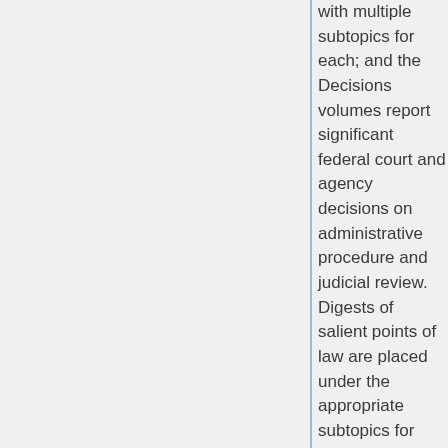with multiple subtopics for each; and the Decisions volumes report significant federal court and agency decisions on administrative procedure and judicial review. Digests of salient points of law are placed under the appropriate subtopics for